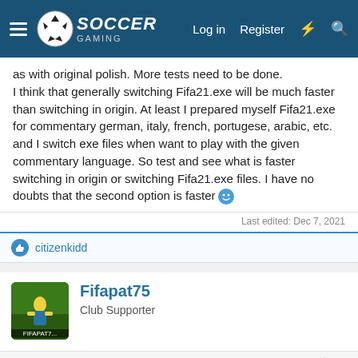Soccer Gaming — Log in | Register
as with original polish. More tests need to be done.
I think that generally switching Fifa21.exe will be much faster than switching in origin. At least I prepared myself Fifa21.exe for commentary german, italy, french, portugese, arabic, etc. and I switch exe files when want to play with the given commentary language. So test and see what is faster switching in origin or switching Fifa21.exe files. I have no doubts that the second option is faster 🙂
Last edited: Dec 7, 2021
👍 citizenkidd
Fifapat75
Club Supporter
Dec 6, 2021
#2
What I don't understand is how to have comments in all languages without having to change from Origin...